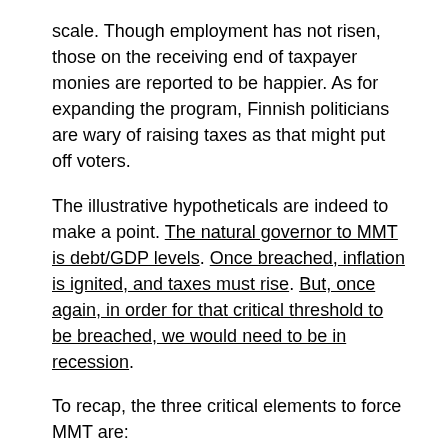scale. Though employment has not risen, those on the receiving end of taxpayer monies are reported to be happier. As for expanding the program, Finnish politicians are wary of raising taxes as that might put off voters.
The illustrative hypotheticals are indeed to make a point. The natural governor to MMT is debt/GDP levels. Once breached, inflation is ignited, and taxes must rise. But, once again, in order for that critical threshold to be breached, we would need to be in recession.
To recap, the three critical elements to force MMT are:
a confidence scare with regards to our omnipotent central bankers,
which induces recession and a falling stock market,
and a rising unemployment rate
The subsequent national debt needs triggered would be on such a scale as to trigger inflation, a monetary phenomenon